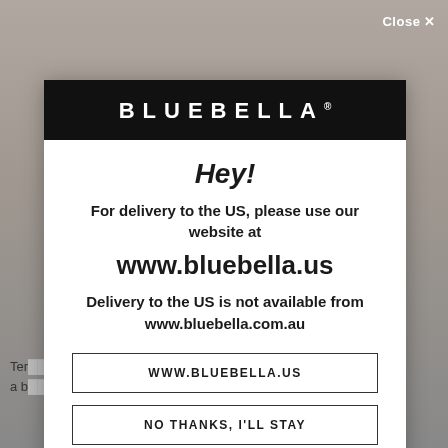[Figure (screenshot): Background showing a dimmed website page with a model photo and partial text visible behind a modal dialog.]
Close ✕
BLUEBELLA®
Hey!
For delivery to the US, please use our website at
www.bluebella.us
Delivery to the US is not available from www.bluebella.com.au
WWW.BLUEBELLA.US
NO THANKS, I'LL STAY
Ter... ve
a b...